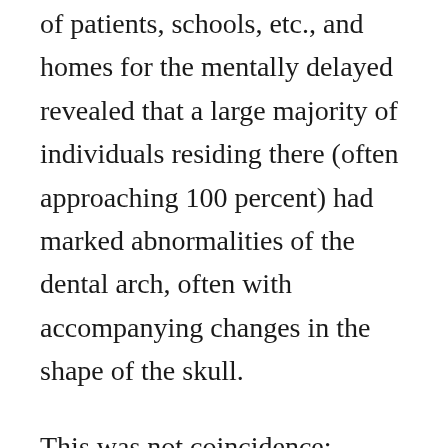of patients, schools, etc., and homes for the mentally delayed revealed that a large majority of individuals residing there (often approaching 100 percent) had marked abnormalities of the dental arch, often with accompanying changes in the shape of the skull.
This was not coincidence; thinking is a biological process, and abnormal changes in the shape of the skull from one generation to the next can contribute to changes in brain functions and thus in behavior. The behavioral changes in deficient cats were due to changes in nutrition. This was the only